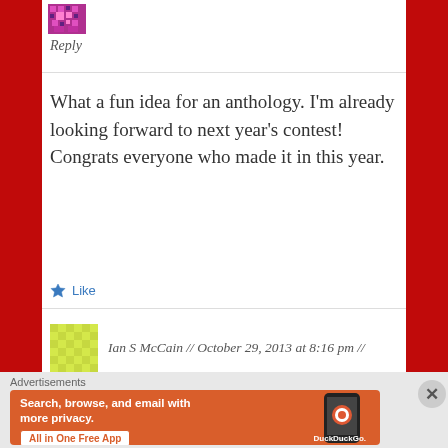[Figure (illustration): Small pixel/avatar icon in purple/pink colors]
Reply
What a fun idea for an anthology. I'm already looking forward to next year's contest! Congrats everyone who made it in this year.
Like
[Figure (illustration): Yellow-green textured avatar square for Ian S McCain]
Ian S McCain // October 29, 2013 at 8:16 pm //
Advertisements
[Figure (screenshot): DuckDuckGo advertisement banner: Search, browse, and email with more privacy. All in One Free App. Shows a phone with the DuckDuckGo app.]